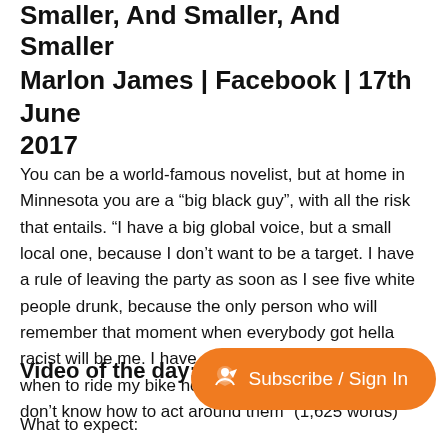Smaller, And Smaller, And Smaller
Marlon James | Facebook | 17th June 2017
You can be a world-famous novelist, but at home in Minnesota you are a “big black guy”, with all the risk that entails. “I have a big global voice, but a small local one, because I don’t want to be a target. I have a rule of leaving the party as soon as I see five white people drunk, because the only person who will remember that moment when everybody got hella racist will be me. I have a self-imposed curfew of when to ride my bike home. I avoid police, because I don’t know how to act around them” (1,625 words)
Video of the day: J
What to expect: